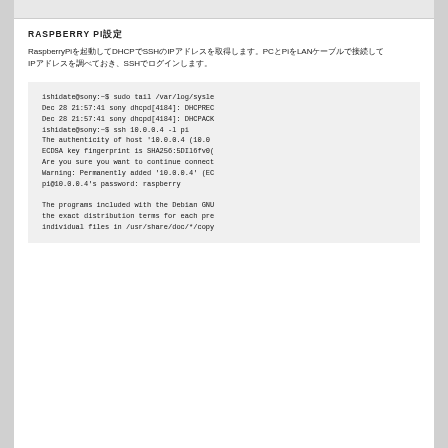RASPBERRY PI設定
RaspberryPiを起動してDHCPでSSHのIPアドレスを取得します。PCとPiをLANケーブルで接続してIPアドレスを調べておき、SSHでログインします。
[Figure (screenshot): Terminal screenshot showing SSH connection to Raspberry Pi at 10.0.0.4 with commands: sudo tail /var/log/syslog, dhcpd[4184] DHCPREQUEST/DHCPACK messages, ssh 10.0.0.4 -l pi, host authenticity warning, ECDSA key fingerprint SHA256:5DIl6fv0..., password prompt: raspberry, and Debian GNU message about programs and distribution terms.]